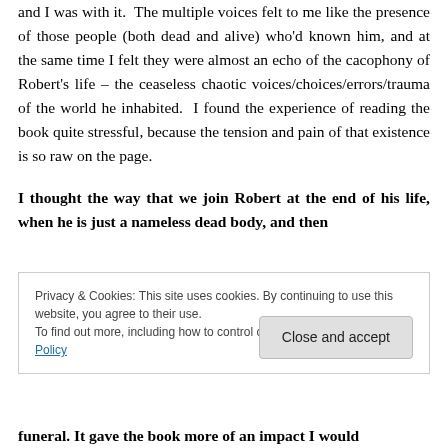and I was with it. The multiple voices felt to me like the presence of those people (both dead and alive) who'd known him, and at the same time I felt they were almost an echo of the cacophony of Robert's life – the ceaseless chaotic voices/choices/errors/trauma of the world he inhabited. I found the experience of reading the book quite stressful, because the tension and pain of that existence is so raw on the page.
I thought the way that we join Robert at the end of his life, when he is just a nameless dead body, and then
Privacy & Cookies: This site uses cookies. By continuing to use this website, you agree to their use.
To find out more, including how to control cookies, see here: Cookie Policy
funeral. It gave the book more of an impact I would